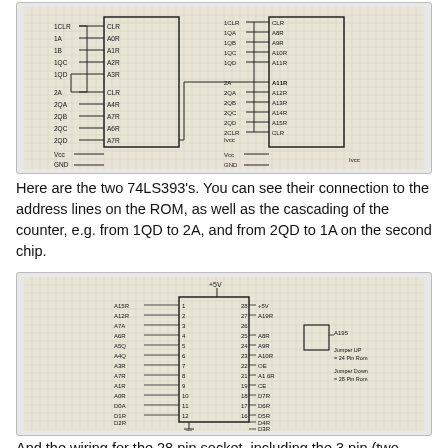[Figure (schematic): Hand-drawn schematic showing two 74LS393 counter chips with connections to address lines on ROM, including CLR, A0R through A3R on first chip, and CLR, A4R through A15R on second chip, with cascading connections from 1QD to 2A and 2QD to 1A, Vcc and GND connections shown.]
Here are the  two 74LS393's.   You can see their connection to the address lines on the ROM, as well as the cascading of the counter, e.g. from 1QD to 2A, and from 2QD to 1A on the second chip.
[Figure (schematic): Hand-drawn schematic of 28-pin ROM socket wiring showing address lines A15R through A0R on left side (pins 1-14), output pins D7R through D3R on right side (pins 15-28), with jumper connections for OE and CE, labeled 'Jumper Up = 24 Pin Rom' and 'Jumper Down = 28 Pin Rom', with +5V power supply at top.]
And the wiring for the 28 pin socket, including the 3 pin (two-